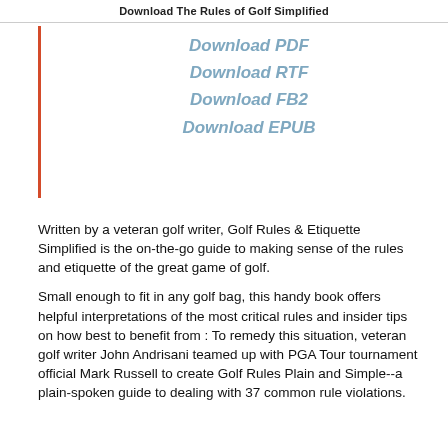Download The Rules of Golf Simplified
Download PDF
Download RTF
Download FB2
Download EPUB
Written by a veteran golf writer, Golf Rules & Etiquette Simplified is the on-the-go guide to making sense of the rules and etiquette of the great game of golf.
Small enough to fit in any golf bag, this handy book offers helpful interpretations of the most critical rules and insider tips on how best to benefit from : To remedy this situation, veteran golf writer John Andrisani teamed up with PGA Tour tournament official Mark Russell to create Golf Rules Plain and Simple--a plain-spoken guide to dealing with 37 common rule violations.